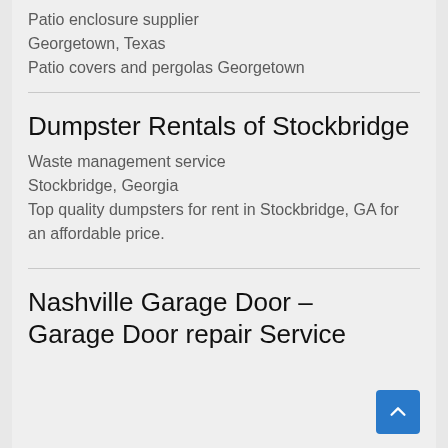Patio enclosure supplier
Georgetown, Texas
Patio covers and pergolas Georgetown
Dumpster Rentals of Stockbridge
Waste management service
Stockbridge, Georgia
Top quality dumpsters for rent in Stockbridge, GA for an affordable price.
Nashville Garage Door – Garage Door repair Service